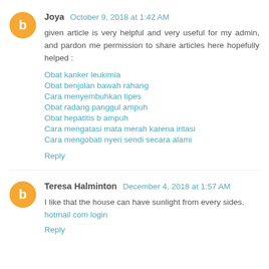Joya October 9, 2018 at 1:42 AM
given article is very helpful and very useful for my admin, and pardon me permission to share articles here hopefully helped :
Obat kanker leukimia
Obat benjolan bawah rahang
Cara menyembuhkan tipes
Obat radang panggul ampuh
Obat hepatitis b ampuh
Cara mengatasi mata merah karena iritasi
Cara mengobati nyeri sendi secara alami
Reply
Teresa Halminton December 4, 2018 at 1:57 AM
I like that the house can have sunlight from every sides.
hotmail com login
Reply